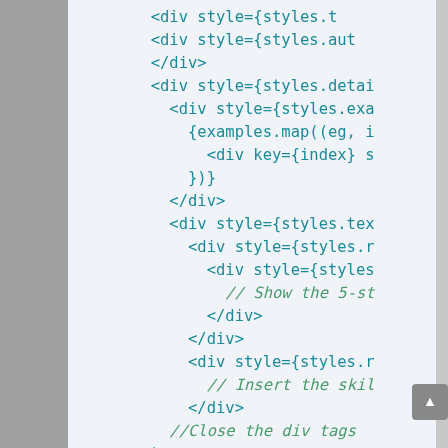[Figure (screenshot): Code editor screenshot showing JSX/React code with div elements, styles, examples.map, and setState calls. Code is shown in teal/cyan monospace font on a light blue-gray background.]